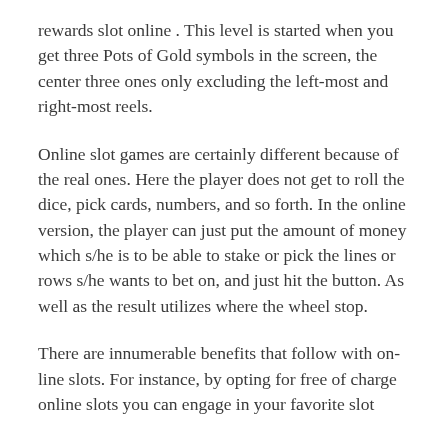rewards slot online. This level is started when you get three Pots of Gold symbols in the screen, the center three ones only excluding the left-most and right-most reels.
Online slot games are certainly different because of the real ones. Here the player does not get to roll the dice, pick cards, numbers, and so forth. In the online version, the player can just put the amount of money which s/he is to be able to stake or pick the lines or rows s/he wants to bet on, and just hit the button. As well as the result utilizes where the wheel stop.
There are innumerable benefits that follow with on-line slots. For instance, by opting for free of charge online slots you can engage in your favorite slot